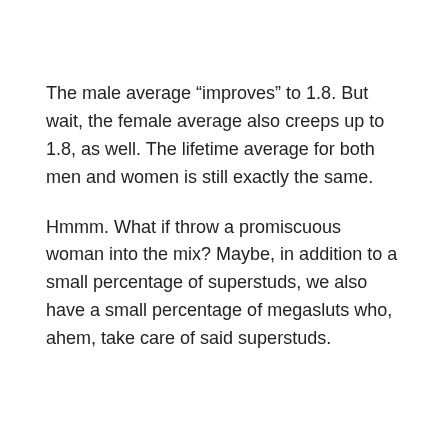The male average “improves” to 1.8. But wait, the female average also creeps up to 1.8, as well. The lifetime average for both men and women is still exactly the same.
Hmmm. What if throw a promiscuous woman into the mix? Maybe, in addition to a small percentage of superstuds, we also have a small percentage of megasluts who, ahem, take care of said superstuds.